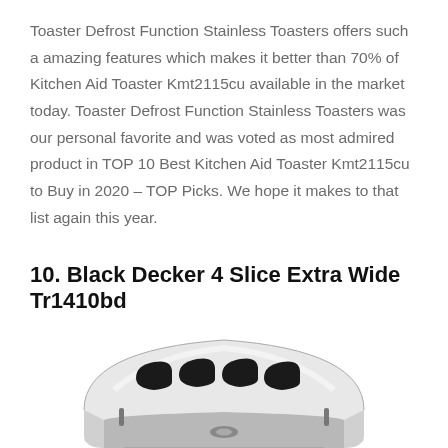Toaster Defrost Function Stainless Toasters offers such a amazing features which makes it better than 70% of Kitchen Aid Toaster Kmt2115cu available in the market today. Toaster Defrost Function Stainless Toasters was our personal favorite and was voted as most admired product in TOP 10 Best Kitchen Aid Toaster Kmt2115cu to Buy in 2020 – TOP Picks. We hope it makes to that list again this year.
10. Black Decker 4 Slice Extra Wide Tr1410bd
[Figure (photo): Black and white photo of a Black Decker 4-slice extra wide toaster viewed from a slight angle, showing the slot openings on top]